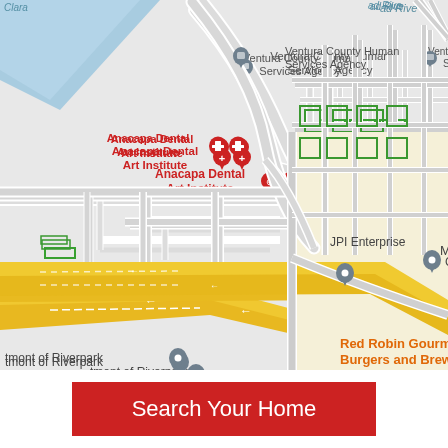[Figure (map): Google Maps screenshot showing Oxnard/Riverpark area with labels: Ventura County Human Services Agency, Anacapa Dental Art Institute, JPI Enterprise, Clearwater at Riverpark, Red Robin Gourmet Burgers and Brews, Target, Oxnard Lev, The Collection at RiverPark, The Cheesecake Factory, tmont of Riverpark. Shows river/water on upper left, yellow highway on lower left, beige shopping area on right.]
Search Your Home